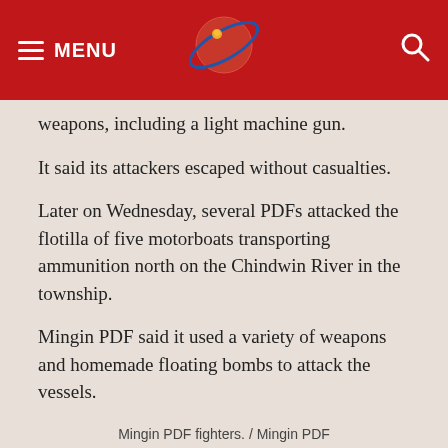MENU
weapons, including a light machine gun.
It said its attackers escaped without casualties.
Later on Wednesday, several PDFs attacked the flotilla of five motorboats transporting ammunition north on the Chindwin River in the township.
Mingin PDF said it used a variety of weapons and homemade floating bombs to attack the vessels.
Mingin PDF fighters. / Mingin PDF
[Figure (photo): Outdoor photo showing trees against a sky; inset image label in Burmese script with red text on white background, reading about Mingin PDF fighters]